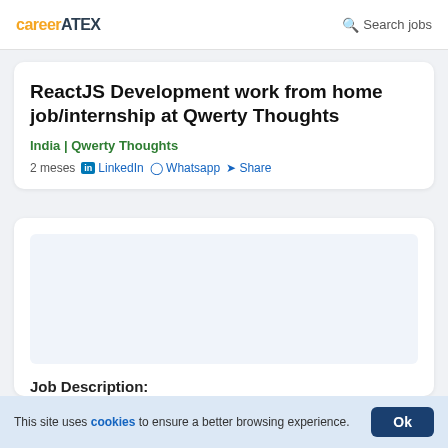careerATEX | Search jobs
ReactJS Development work from home job/internship at Qwerty Thoughts
India | Qwerty Thoughts
2 meses   in LinkedIn   Whatsapp   Share
Job Description:
About Qwerty Thoughts Qwerty Thoughts is an AI-powered social
This site uses cookies to ensure a better browsing experience.   Ok